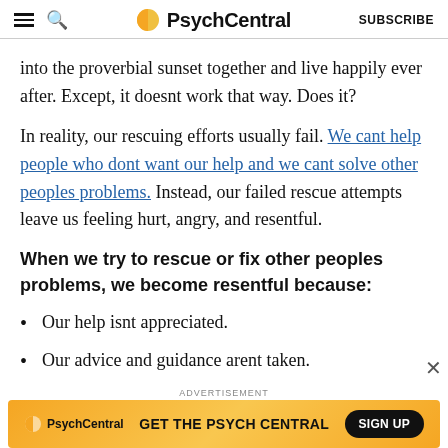PsychCentral | SUBSCRIBE
into the proverbial sunset together and live happily ever after. Except, it doesnt work that way. Does it?
In reality, our rescuing efforts usually fail. We cant help people who dont want our help and we cant solve other peoples problems. Instead, our failed rescue attempts leave us feeling hurt, angry, and resentful.
When we try to rescue or fix other peoples problems, we become resentful because:
Our help isnt appreciated.
Our advice and guidance arent taken.